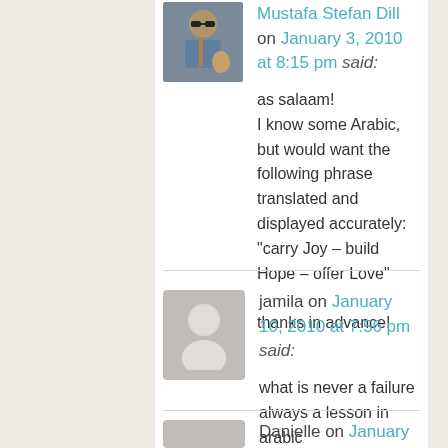Mustafa Stefan Dill on January 3, 2010 at 8:15 pm said:
as salaam!
I know some Arabic, but would want the following phrase translated and displayed accurately:
"carry Joy – build Hope – offer Love"

thanks in advance!
jamila on January 10, 2010 at 7:56 pm said:
what is never a failure always a lesson in arabic
Danielle on January 11, 2010 at 6:31 pm said: